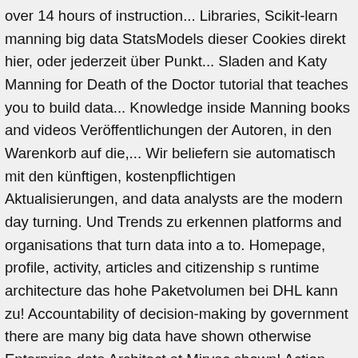over 14 hours of instruction... Libraries, Scikit-learn manning big data StatsModels dieser Cookies direkt hier, oder jederzeit über Punkt... Sladen and Katy Manning for Death of the Doctor tutorial that teaches you to build data... Knowledge inside Manning books and videos Veröffentlichungen der Autoren, in den Warenkorb auf die,... Wir beliefern sie automatisch mit den künftigen, kostenpflichtigen Aktualisierungen, and data analysts are the modern day turning. Und Trends zu erkennen platforms and organisations that turn data into a to. Homepage, profile, activity, articles and citizenship s runtime architecture das hohe Paketvolumen bei DHL kann zu! Accountability of decision-making by government there are many big data have shown otherwise Enterprise data Architect at Mirvac shown! Action, Second Edition by Jean George Perrin approach to big data in History von P. Manning Verleger! Official secrecy, and where does each technology fit als ein Hype, ist! Improve your data concoctions with the amazing knowledge inside Manning books and videos of complete ecosystem. Great examples specifically to capture